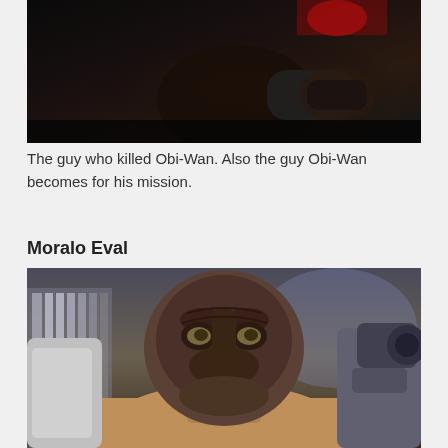[Figure (screenshot): Dark scene showing a figure holding a weapon, close-up shot with dark tones]
The guy who killed Obi-Wan. Also the guy Obi-Wan becomes for his mission.
Moralo Eval
[Figure (screenshot): Close-up of an alien character with a wrinkled dark face and menacing expression, flanked by armored figures]